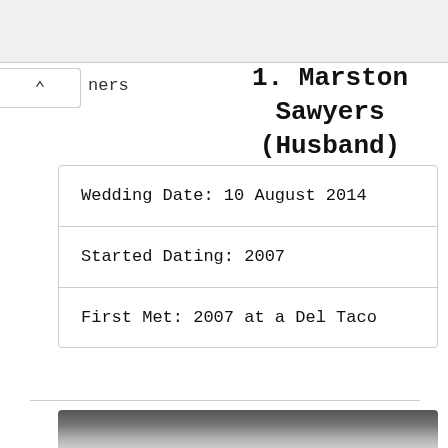ners
1. Marston Sawyers (Husband)
| Wedding Date: 10 August 2014 |
| Started Dating: 2007 |
| First Met: 2007 at a Del Taco |
[Figure (photo): Photograph of a blonde woman in an outdoor/street setting, partially cropped at the bottom of the page.]